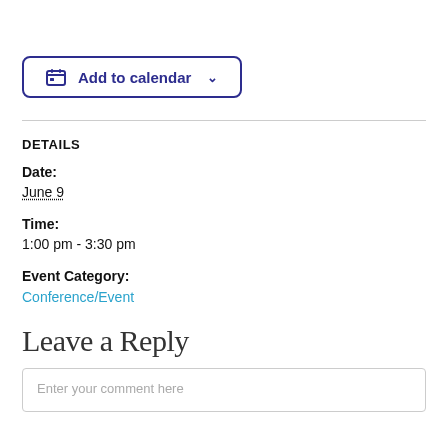[Figure (other): Add to calendar button with calendar icon and dropdown chevron, styled with dark blue border and text]
DETAILS
Date:
June 9
Time:
1:00 pm - 3:30 pm
Event Category:
Conference/Event
Leave a Reply
Enter your comment here